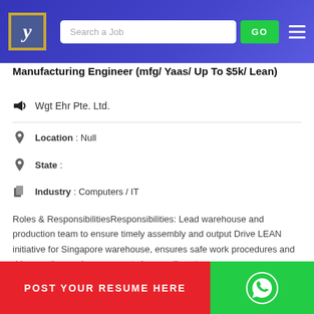Search a Job | GO
Manufacturing Engineer (mfg/ Yaas/ Up To $5k/ Lean)
Wgt Ehr Pte. Ltd.
Location : Null
State :
Industry : Computers / IT
Roles & ResponsibilitiesResponsibilities: Lead warehouse and production team to ensure timely assembly and output Drive LEAN initiative for Singapore warehouse, ensures safe work procedures and drive continuous improvements in overall efficiency... ngi...
POST YOUR RESUME HERE